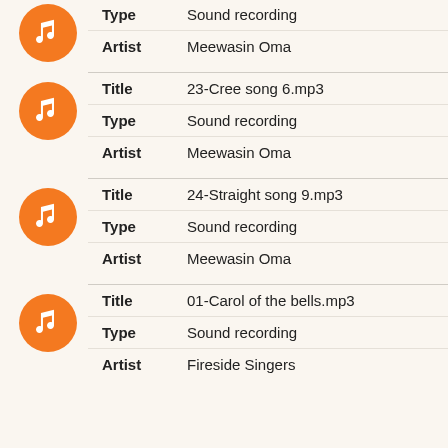Type: Sound recording | Artist: Meewasin Oma
Title: 23-Cree song 6.mp3 | Type: Sound recording | Artist: Meewasin Oma
Title: 24-Straight song 9.mp3 | Type: Sound recording | Artist: Meewasin Oma
Title: 01-Carol of the bells.mp3 | Type: Sound recording | Artist: Fireside Singers